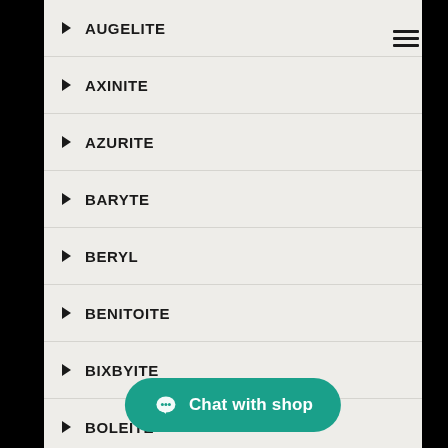AUGELITE
AXINITE
AZURITE
BARYTE
BERYL
BENITOITE
BIXBYITE
BOLEITE
BOURNONITE
BRAZILIANITE
BROCHANTITE
BROOKITE
CALCITE
CAVANS...
CELESTIN
Chat with shop